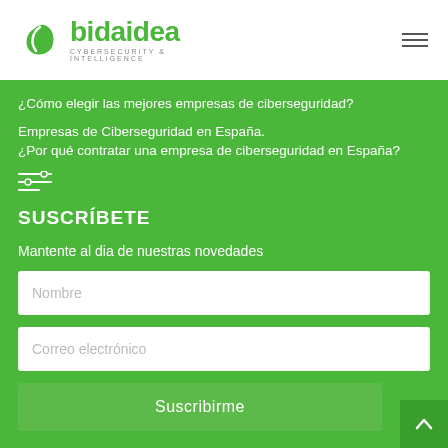[Figure (logo): Bidaidea Cybersecurity & Intelligence logo with green leaf icon]
¿Cómo elegir las mejores empresas de ciberseguridad?
Empresas de Ciberseguridad en España.
¿Por qué contratar una empresa de ciberseguridad en España?
SUSCRÍBETE
Mantente al dia de nuestras novedades
Nombre
Correo electrónico
Suscribirme